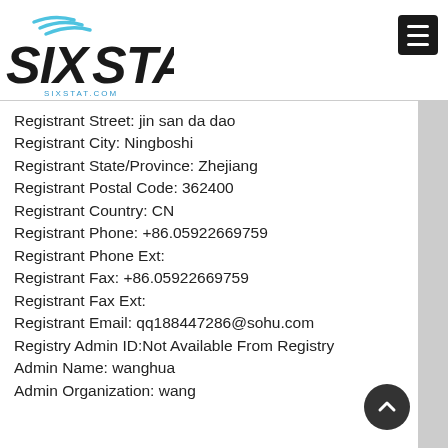[Figure (logo): SixStat.com logo with swoosh marks and site name]
Registrant Street: jin san da dao
Registrant City: Ningboshi
Registrant State/Province: Zhejiang
Registrant Postal Code: 362400
Registrant Country: CN
Registrant Phone: +86.05922669759
Registrant Phone Ext:
Registrant Fax: +86.05922669759
Registrant Fax Ext:
Registrant Email: qq188447286@sohu.com
Registry Admin ID:Not Available From Registry
Admin Name: wanghua
Admin Organization: wang